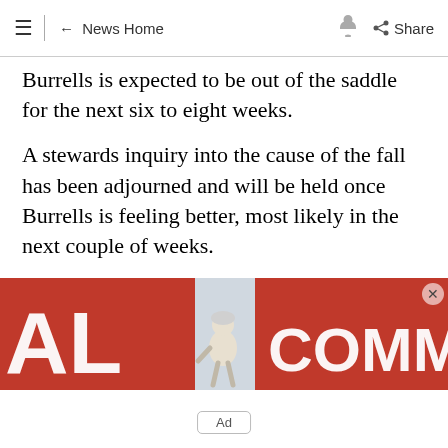≡ | ← News Home 🔔 Share
Burrells is expected to be out of the saddle for the next six to eight weeks.
A stewards inquiry into the cause of the fall has been adjourned and will be held once Burrells is feeling better, most likely in the next couple of weeks.
...
[Figure (photo): Advertisement banner showing partial text 'AL' on left and 'COMMER' on right on a red background, with a jockey figure in the center. A close button (×) appears in the top right.]
Ad